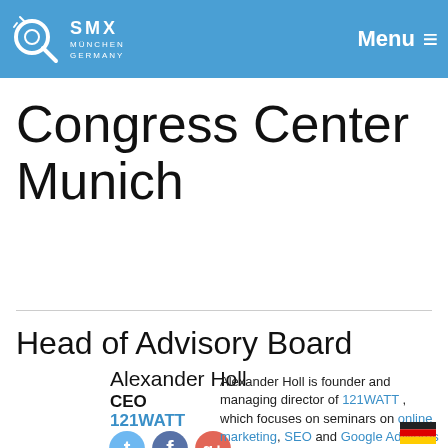SMX München Germany — Menu
Congress Center Munich
Head of Advisory Board
Alexander Holl
CEO
121WATT
[Figure (illustration): Social media icons: Twitter, Facebook, Google+]
Alexander Holl is founder and managing director of 121WATT , which focuses on seminars on online marketing, SEO and Google AdWords in Munich, Hamburg and Berlin. More than 20 years Internet and 15 years